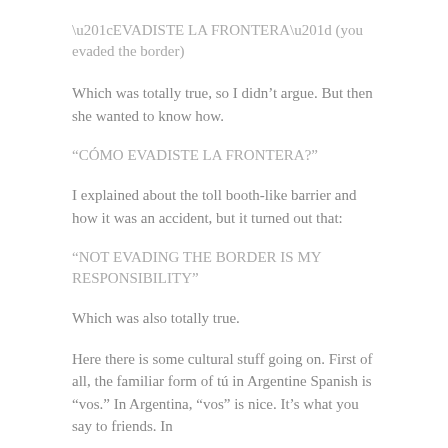“EVADISTE LA FRONTERA” (you evaded the border)
Which was totally true, so I didn’t argue. But then she wanted to know how.
“CÓMO EVADISTE LA FRONTERA?”
I explained about the toll booth-like barrier and how it was an accident, but it turned out that:
“NOT EVADING THE BORDER IS MY RESPONSIBILITY”
Which was also totally true.
Here there is some cultural stuff going on. First of all, the familiar form of tú in Argentine Spanish is “vos.” In Argentina, “vos” is nice. It’s what you say to friends. In